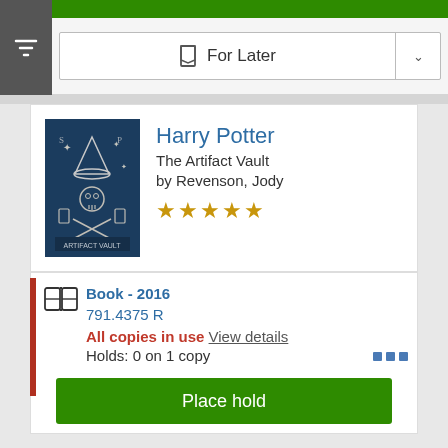[Figure (screenshot): Filter funnel icon button in dark gray square]
For Later
[Figure (illustration): Harry Potter: The Artifact Vault book cover, dark blue with wizard hat and magic items]
Harry Potter
The Artifact Vault
by Revenson, Jody
[Figure (other): 5 gold star rating]
Book - 2016
791.4375 R
All copies in use View details
Holds: 0 on 1 copy
Place hold